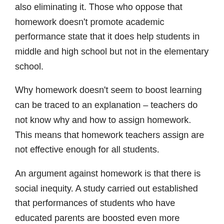also eliminating it. Those who oppose that homework doesn't promote academic performance state that it does help students in middle and high school but not in the elementary school.
Why homework doesn't seem to boost learning can be traced to an explanation – teachers do not know why and how to assign homework. This means that homework teachers assign are not effective enough for all students.
An argument against homework is that there is social inequity. A study carried out established that performances of students who have educated parents are boosted even more because they have the internet and all resources needed to do the homework. Hence, students from less educative families need the boost that useful homework can